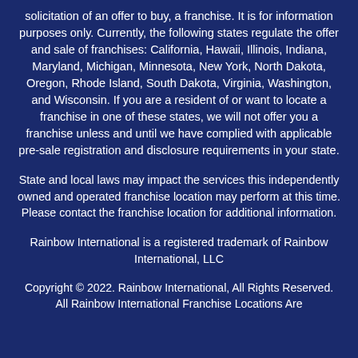solicitation of an offer to buy, a franchise. It is for information purposes only. Currently, the following states regulate the offer and sale of franchises: California, Hawaii, Illinois, Indiana, Maryland, Michigan, Minnesota, New York, North Dakota, Oregon, Rhode Island, South Dakota, Virginia, Washington, and Wisconsin. If you are a resident of or want to locate a franchise in one of these states, we will not offer you a franchise unless and until we have complied with applicable pre-sale registration and disclosure requirements in your state.
State and local laws may impact the services this independently owned and operated franchise location may perform at this time. Please contact the franchise location for additional information.
Rainbow International is a registered trademark of Rainbow International, LLC
Copyright © 2022. Rainbow International, All Rights Reserved. All Rainbow International Franchise Locations Are